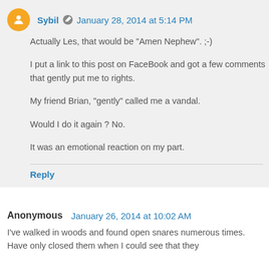Sybil   January 28, 2014 at 5:14 PM
Actually Les, that would be "Amen Nephew". ;-)
I put a link to this post on FaceBook and got a few comments that gently put me to rights.
My friend Brian, "gently" called me a vandal.
Would I do it again ? No.
It was an emotional reaction on my part.
Reply
Anonymous   January 26, 2014 at 10:02 AM
I've walked in woods and found open snares numerous times. Have only closed them when I could see that they